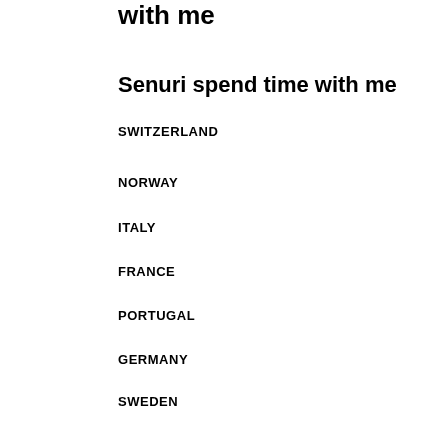with me
Senuri spend time with me
SWITZERLAND
NORWAY
ITALY
FRANCE
PORTUGAL
GERMANY
SWEDEN
BELGIUM
IRELAND
LATVIA
MALTA
AUSTRIA